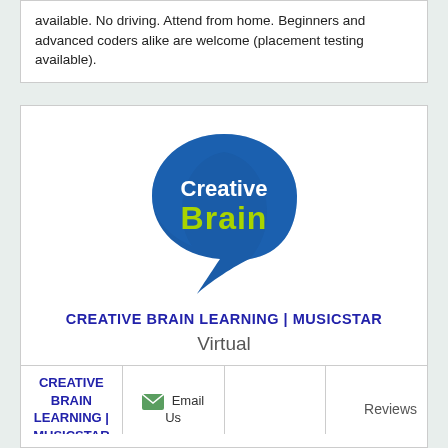available. No driving. Attend from home. Beginners and advanced coders alike are welcome (placement testing available).
[Figure (logo): Creative Brain logo: blue speech-bubble shape with 'Creative' in white text and 'Brain' in yellow-green text]
CREATIVE BRAIN LEARNING | MUSICSTAR
Virtual
|  | Email Us |  | Reviews |
| --- | --- | --- | --- |
| CREATIVE BRAIN LEARNING | MUSICSTAR | Email Us |  | Reviews |